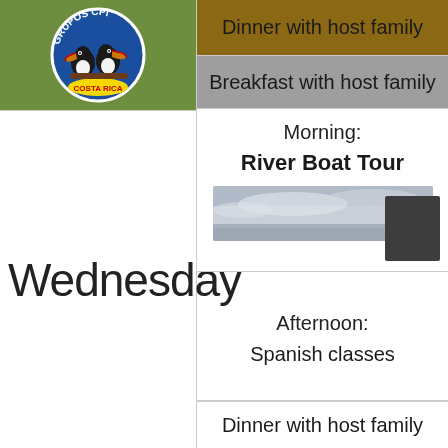[Figure (logo): Grupos CPI Costa Rica logo with toucans on a blue circular badge on green background]
Dinner with host family
Breakfast with host family
Wednesday
Morning:
River Boat Tour
[Figure (photo): Partial image of a river boat tour, overcast sky]
Afternoon:
Spanish classes
Dinner with host family